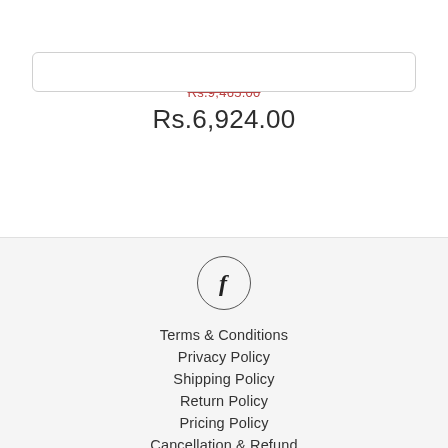[Figure (other): White card/box element at top]
Monza EC 10 L
Rs.9,465.00 (strikethrough, red)
Rs.6,924.00
[Figure (other): Facebook icon in a circle]
Terms & Conditions
Privacy Policy
Shipping Policy
Return Policy
Pricing Policy
Cancellation & Refund